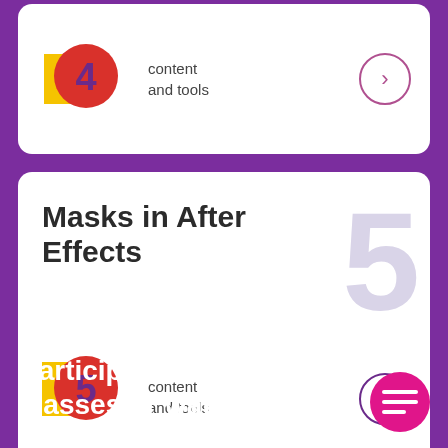[Figure (illustration): White card with number 4 icon (red circle with yellow shape), 'content and tools' text, and arrow circle button]
[Figure (illustration): White card with 'Masks in After Effects' title, large light purple number 5 watermark, number 5 icon (red circle with yellow shape and purple 5), 'content and tools' text, and arrow circle button]
Participate in virtual classes or watch the